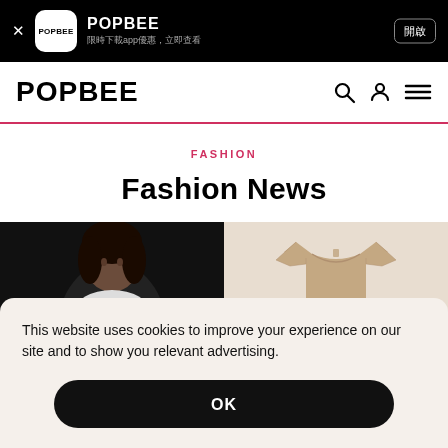× POPBEE POPBEE 限時下載app優惠，立即查看 開啟
POPBEE 🔍 👤 ☰
FASHION
Fashion News
[Figure (photo): Left half: dark background with woman in white top. Right half: beige/tan t-shirt on white background.]
This website uses cookies to improve your experience on our site and to show you relevant advertising.
OK